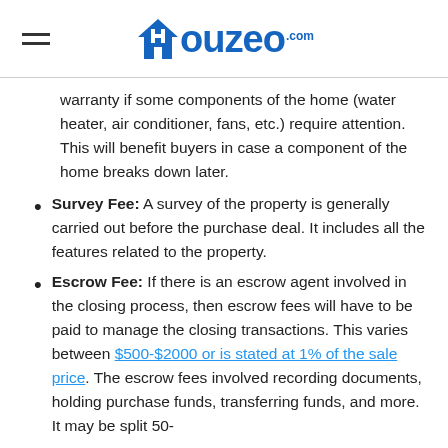Houzeo.com
warranty if some components of the home (water heater, air conditioner, fans, etc.) require attention. This will benefit buyers in case a component of the home breaks down later.
Survey Fee: A survey of the property is generally carried out before the purchase deal. It includes all the features related to the property.
Escrow Fee: If there is an escrow agent involved in the closing process, then escrow fees will have to be paid to manage the closing transactions. This varies between $500-$2000 or is stated at 1% of the sale price. The escrow fees involved recording documents, holding purchase funds, transferring funds, and more. It may be split 50-